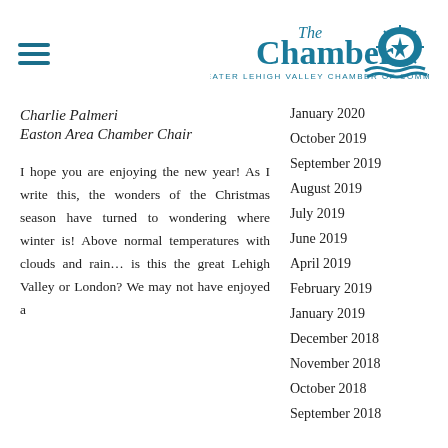The Chamber - Greater Lehigh Valley Chamber of Commerce
Charlie Palmeri
Easton Area Chamber Chair
I hope you are enjoying the new year! As I write this, the wonders of the Christmas season have turned to wondering where winter is! Above normal temperatures with clouds and rain… is this the great Lehigh Valley or London? We may not have enjoyed a
January 2020
October 2019
September 2019
August 2019
July 2019
June 2019
April 2019
February 2019
January 2019
December 2018
November 2018
October 2018
September 2018